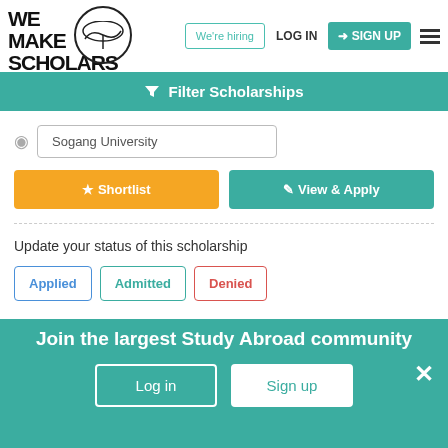We Make Scholars — We're hiring | LOG IN | SIGN UP
Filter Scholarships
Sogang University
Shortlist
View & Apply
Update your status of this scholarship
Applied  Admitted  Denied
Join the largest Study Abroad community
Log in  Sign up